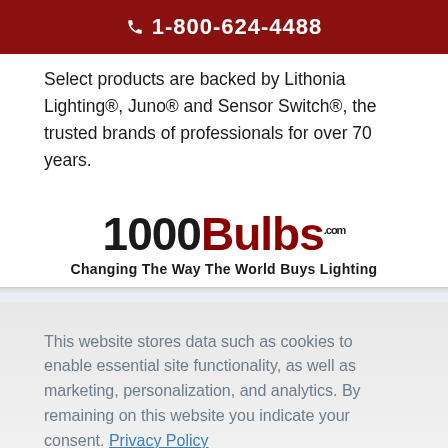📞 1-800-624-4488
Select products are backed by Lithonia Lighting®, Juno® and Sensor Switch®, the trusted brands of professionals for over 70 years.
[Figure (logo): 1000Bulbs.com logo with tagline 'Changing The Way The World Buys Lighting']
This website stores data such as cookies to enable essential site functionality, as well as marketing, personalization, and analytics. By remaining on this website you indicate your consent. Privacy Policy